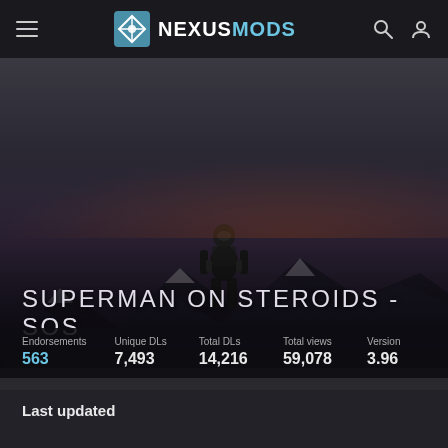NEXUSMODS
[Figure (screenshot): Dark hero image area showing a game character (robot/armored figure) standing on snowy mountain landscape with purple dusk sky]
SUPERMAN ON STEROIDS - SOS
| Endorsements | Unique DLs | Total DLs | Total views | Version |
| --- | --- | --- | --- | --- |
| 563 | 7,493 | 14,216 | 59,078 | 3.96 |
Last updated